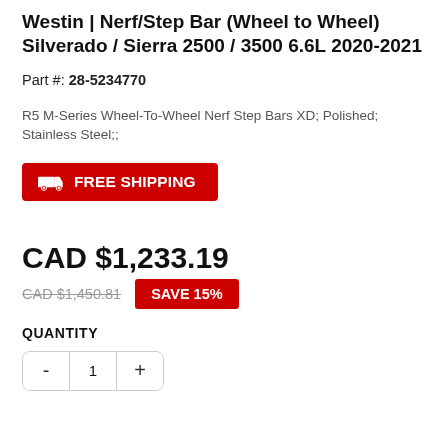Westin | Nerf/Step Bar (Wheel to Wheel) Silverado / Sierra 2500 / 3500 6.6L 2020-2021
Part #: 28-5234770
R5 M-Series Wheel-To-Wheel Nerf Step Bars XD; Polished; Stainless Steel;;
FREE SHIPPING
CAD $1,233.19
CAD $1,450.81   SAVE 15%
QUANTITY
- 1 +